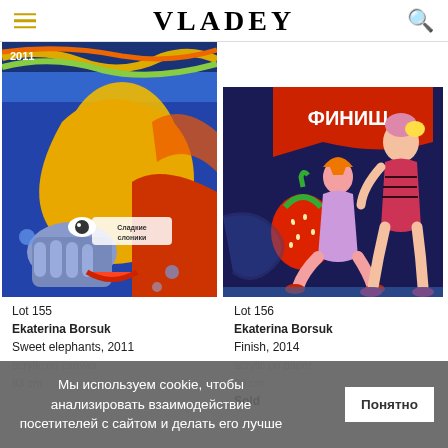VLADEY
[Figure (photo): Colorful expressionist painting by Ekaterina Borsuk titled 'Sweet elephants', 2011. Vivid colors with yellows, blues, and reds showing abstract figure with text 'Сладкие слоники' inscribed.]
[Figure (photo): Colorful expressionist painting by Ekaterina Borsuk titled 'Finish', 2014. Shows stylized female figures with a red banner reading 'ФИНИШ' and a large strawberry.]
Lot 155
Ekaterina Borsuk
Sweet elephants, 2011
acrylic on canvas
83 cm
Lot 156
Ekaterina Borsuk
Finish, 2014
acrylic on paper
20 cm
Sold
Мы используем cookie, чтобы анализировать взаимодействие посетителей с сайтом и делать его лучше
Понятно